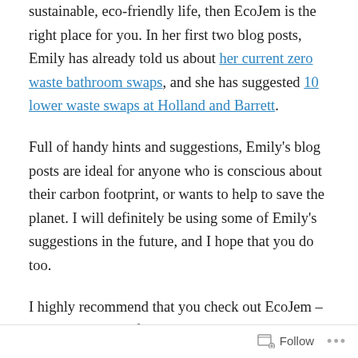sustainable, eco-friendly life, then EcoJem is the right place for you. In her first two blog posts, Emily has already told us about her current zero waste bathroom swaps, and she has suggested 10 lower waste swaps at Holland and Barrett.
Full of handy hints and suggestions, Emily's blog posts are ideal for anyone who is conscious about their carbon footprint, or wants to help to save the planet. I will definitely be using some of Emily's suggestions in the future, and I hope that you do too.
I highly recommend that you check out EcoJem – I really can't wait for more blog posts, and to learn about how I can make my day-to-day life more eco-friendly.
If you're a new blogger, feel free to get in touch with me
Follow